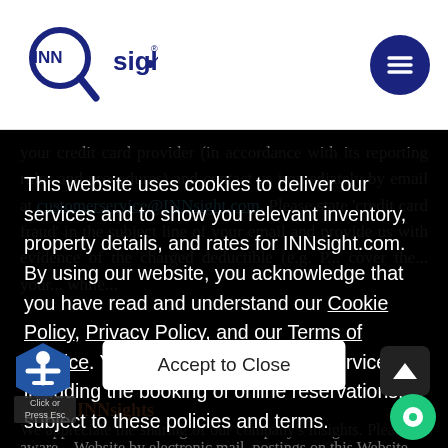[Figure (logo): INNsight logo with magnifying glass graphic and registered trademark symbol]
[Figure (other): Hamburger menu button (three horizontal lines) in a dark navy blue circle]
your credit card provider (in accordance with its reporting rules and procedures) and contact us immediately by email at customerservice@INNsight.com. Please state 'credit card fraud' in the subject line of your email and provide us with evidence of the charged deductible (e.g. P...
This website uses cookies to deliver our services and to show you relevant inventory, property details, and rates for INNsight.com. By using our website, you acknowledge that you have read and understand our Cookie Policy, Privacy Policy, and our Terms of Service. Your use of INNsight.com services, including the booking of online reservations, is subject to these policies and terms.
Accept to Close
ws aka INNsights
We appreciate the sharing of our company's insights. Please be aware... Website by electronic mail, postings on this Website